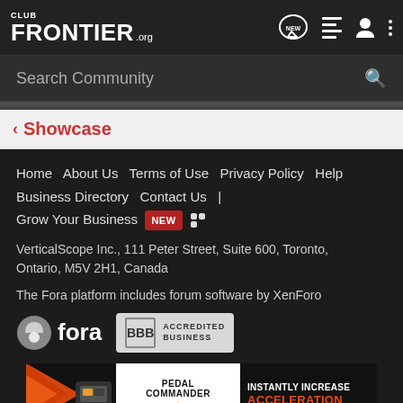CLUB FRONTIER .ORG
Search Community
< Showcase
Home | About Us | Terms of Use | Privacy Policy | Help | Business Directory | Contact Us | | Grow Your Business [NEW] RSS | Grow Your Business
VerticalScope Inc., 111 Peter Street, Suite 600, Toronto, Ontario, M5V 2H1, Canada
The Fora platform includes forum software by XenForo
[Figure (logo): Fora logo with circular icon and BBB Accredited Business badge]
[Figure (illustration): Pedal Commander advertisement - INSTANTLY INCREASE ACCELERATION with orange/black graphic design]